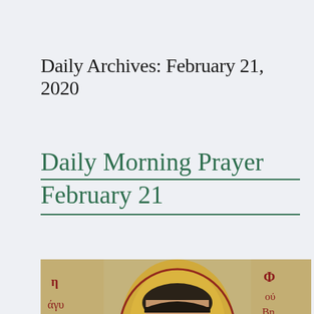Daily Archives: February 21, 2020
Daily Morning Prayer February 21
[Figure (photo): Byzantine-style religious icon showing a saint's face with halo, Greek text visible on left reading 'η άγια' and on the right 'Φ ου Βη', painted in traditional icon style with gold and earth tones]